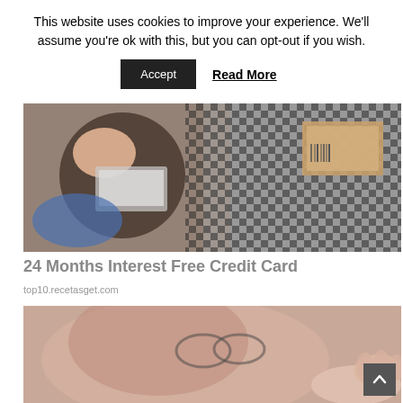This website uses cookies to improve your experience. We'll assume you're ok with this, but you can opt-out if you wish.
Accept  Read More
[Figure (photo): Aerial view of a person sitting on a black and white checkered carpet, using a laptop, with a cardboard box nearby]
24 Months Interest Free Credit Card
top10.recetasget.com
[Figure (photo): Close-up blurred photo of a person wearing glasses looking down at something, with a hand in the foreground]